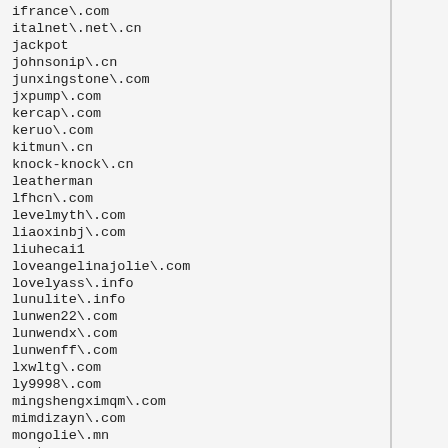ifrance\.com
italnet\.net\.cn
jackpot
johnsonip\.cn
junxingstone\.com
jxpump\.com
kercap\.com
keruo\.com
kitmun\.cn
knock-knock\.cn
leatherman
lfhcn\.com
levelmyth\.com
liaoxinbj\.com
liuhecai1
loveangelinajolie\.com
lovelyass\.info
lunulite\.info
lunwen22\.com
lunwendx\.com
lunwenff\.com
lxwltg\.com
ly9998\.com
mingshengximqm\.com
mimdizayn\.com
mongolie\.mn
mortgage
movingcompany
mpump
mqktw\.com
muggars\.info
mybb\.ru